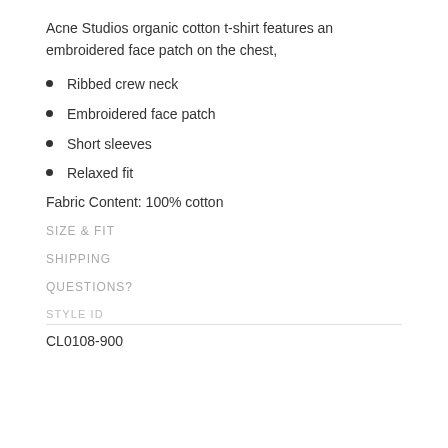Acne Studios organic cotton t-shirt features an embroidered face patch on the chest,
Ribbed crew neck
Embroidered face patch
Short sleeves
Relaxed fit
Fabric Content: 100% cotton
SIZE & FIT
SHIPPING
QUESTIONS?
STYLE ID
CL0108-900